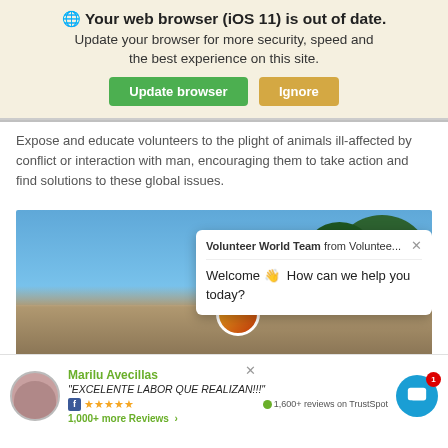🌐 Your web browser (iOS 11) is out of date. Update your browser for more security, speed and the best experience on this site.
[Figure (screenshot): Two buttons: green 'Update browser' and tan/gold 'Ignore']
Expose and educate volunteers to the plight of animals ill-affected by conflict or interaction with man, encouraging them to take action and find solutions to these global issues.
[Figure (photo): Outdoor photo with blue sky and trees, showing volunteers smiling, with a colorful circular logo overlay and a chat popup saying 'Volunteer World Team from Voluntee... Welcome 👋 How can we help you today?']
[Figure (screenshot): Review bar showing Marilu Avecillas with quote 'EXCELENTE LABOR QUE REALIZAN!!!' and 5 stars, Facebook icon, and '1,600+ reviews on TrustSpot', with '1,000+ more Reviews >' link and chat bubble icon with badge 1]